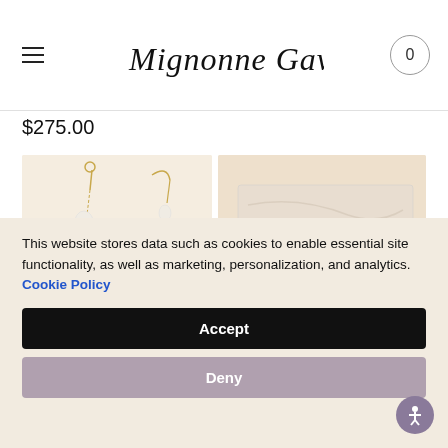Mignonne Gavigan — navigation header with cart showing 0
$275.00
[Figure (photo): Two asymmetric pearl drop earrings on cream background — one earring with mixed baroque and round freshwater pearls on gold chain, another with mini pearl cluster drop]
[Figure (photo): Gold hoop and pearl cluster jewelry pieces resting on a marble/travertine stone block, warm beige background]
This website stores data such as cookies to enable essential site functionality, as well as marketing, personalization, and analytics. Cookie Policy
Accept
Deny